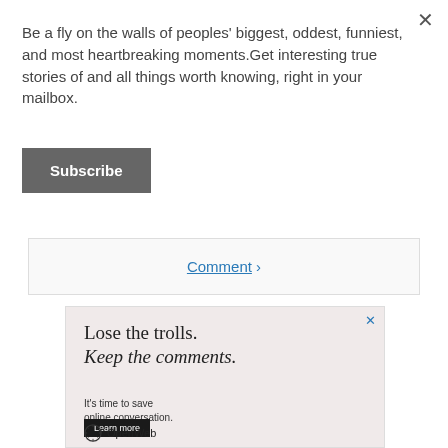Be a fly on the walls of peoples' biggest, oddest, funniest, and most heartbreaking moments.Get interesting true stories of and all things worth knowing, right in your mailbox.
Subscribe
Comment >
[Figure (other): Advertisement for OpenWeb: 'Lose the trolls. Keep the comments. It's time to save online conversation. Learn more. OpenWeb']